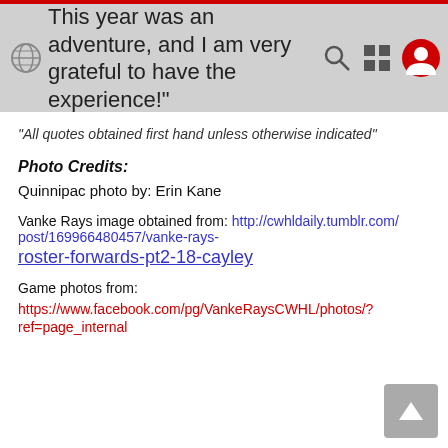This year was an adventure, and I am very grateful to have the experience!
“All quotes obtained first hand unless otherwise indicated”
Photo Credits:
Quinnipac photo by: Erin Kane
Vanke Rays image obtained from: http://cwhldaily.tumblr.com/post/169966480457/vanke-rays-roster-forwards-pt2-18-cayley
Game photos from: https://www.facebook.com/pg/VankeRaysCWHL/photos/?ref=page_internal